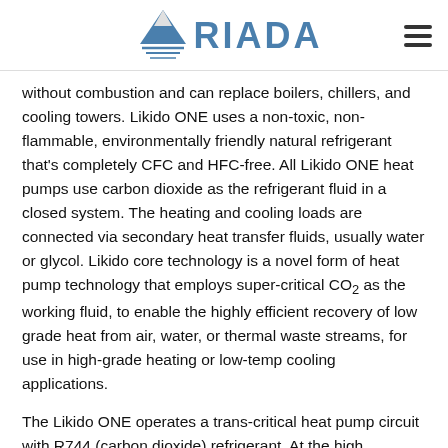RIADA logo and navigation
without combustion and can replace boilers, chillers, and cooling towers. Likido ONE uses a non-toxic, non-flammable, environmentally friendly natural refrigerant that's completely CFC and HFC-free. All Likido ONE heat pumps use carbon dioxide as the refrigerant fluid in a closed system. The heating and cooling loads are connected via secondary heat transfer fluids, usually water or glycol. Likido core technology is a novel form of heat pump technology that employs super-critical CO₂ as the working fluid, to enable the highly efficient recovery of low grade heat from air, water, or thermal waste streams, for use in high-grade heating or low-temp cooling applications.
The Likido ONE operates a trans-critical heat pump circuit with R744 (carbon dioxide) refrigerant. At the high operating pressures of R744 systems the carbon dioxide is above its critical point and behaves as a supercritical fluid in the high-